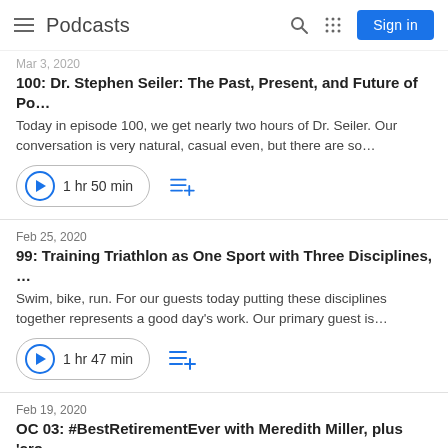Podcasts | Sign in
100: Dr. Stephen Seiler: The Past, Present, and Future of Po…
Today in episode 100, we get nearly two hours of Dr. Seiler. Our conversation is very natural, casual even, but there are so…
1 hr 50 min
Feb 25, 2020
99: Training Triathlon as One Sport with Three Disciplines, …
Swim, bike, run. For our guests today putting these disciplines together represents a good day's work. Our primary guest is…
1 hr 47 min
Feb 19, 2020
OC 03: #BestRetirementEver with Meredith Miller, plus 'cro…
Today, my guest is Meredith Miller. She may say she's "retired" from racing, but she absolutely has not retired from the sport…